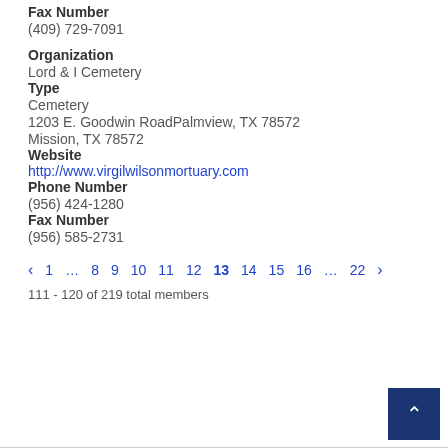Fax Number
(409) 729-7091
Organization
Lord & I Cemetery
Type
Cemetery
1203 E. Goodwin RoadPalmview, TX 78572
Mission, TX 78572
Website
http://www.virgilwilsonmortuary.com
Phone Number
(956) 424-1280
Fax Number
(956) 585-2731
111 - 120 of 219 total members